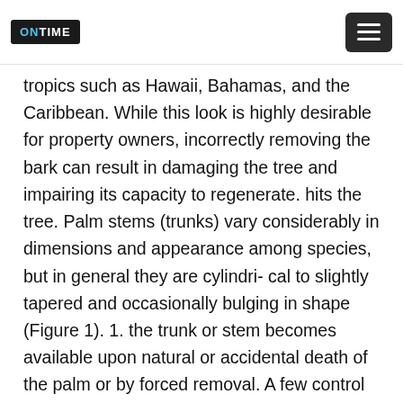ONTIME [menu button]
tropics such as Hawaii, Bahamas, and the Caribbean. While this look is highly desirable for property owners, incorrectly removing the bark can result in damaging the tree and impairing its capacity to regenerate. hits the tree. Palm stems (trunks) vary considerably in dimensions and appearance among species, but in general they are cylindri- cal to slightly tapered and occasionally bulging in shape (Figure 1). 1. the trunk or stem becomes available upon natural or accidental death of the palm or by forced removal. A few control options are available. Use a ladder or lift truck to reach the dead fronds on tall trees, instead of climbing it with spikes. How do I bring back this pecan tree to its full potential? Tree bark is removed to prepare logs for building materials, though the wood texture...